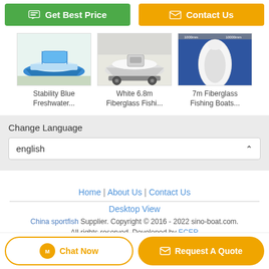[Figure (other): Get Best Price button (green) and Contact Us button (orange)]
[Figure (photo): Stability Blue Freshwater fishing boat product image]
Stability Blue
Freshwater...
[Figure (photo): White 6.8m Fiberglass Fishing boat product image]
White 6.8m
Fiberglass Fishi...
[Figure (photo): 7m Fiberglass Fishing Boats product image]
7m Fiberglass
Fishing Boats...
Change Language
english
Home | About Us | Contact Us
Desktop View
China sportfish Supplier. Copyright © 2016 - 2022 sino-boat.com. All rights reserved. Developed by ECER
[Figure (other): Chat Now button and Request A Quote button at bottom]